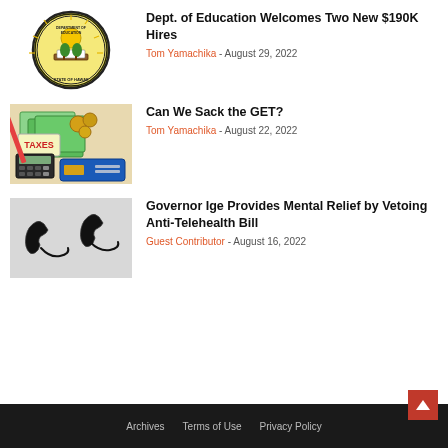[Figure (logo): Hawaii Department of Education circular seal logo, black and yellow with green accents]
Dept. of Education Welcomes Two New $190K Hires
Tom Yamachika - August 29, 2022
[Figure (photo): Image of tax documents, green money/cards, pencil and calculator on a desk with 'TAXES' label]
Can We Sack the GET?
Tom Yamachika - August 22, 2022
[Figure (photo): Two old telephone handsets on a gray background]
Governor Ige Provides Mental Relief by Vetoing Anti-Telehealth Bill
Guest Contributor - August 16, 2022
Archives   Terms of Use   Privacy Policy